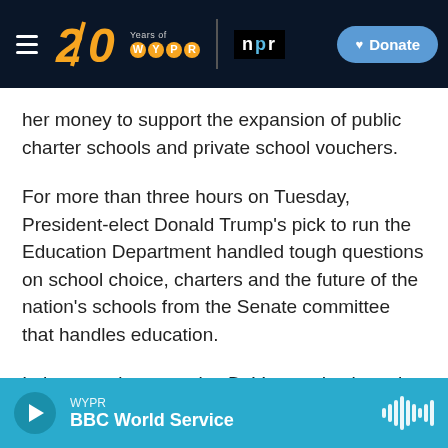[Figure (screenshot): WYPR 20 Years navigation bar with NPR logo and Donate button on dark navy background]
her money to support the expansion of public charter schools and private school vouchers.
For more than three hours on Tuesday, President-elect Donald Trump's pick to run the Education Department handled tough questions on school choice, charters and the future of the nation's schools from the Senate committee that handles education.
In her opening remarks, DeVos made clear she doesn't think traditional public schools are a good fit for every child.
[Figure (screenshot): Audio player bar showing WYPR BBC World Service with play button and waveform icon on teal/cyan background]